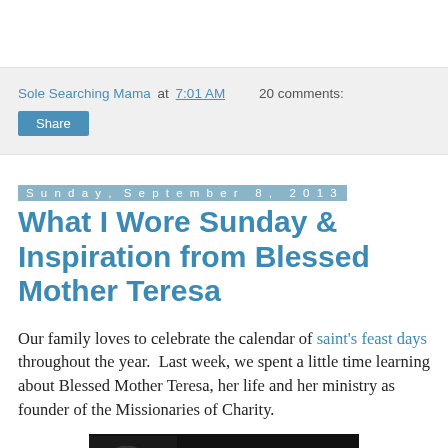Sole Searching Mama at 7:01 AM   20 comments:
Share
Sunday, September 8, 2013
What I Wore Sunday & Inspiration from Blessed Mother Teresa
Our family loves to celebrate the calendar of saint's feast days throughout the year.  Last week, we spent a little time learning about Blessed Mother Teresa, her life and her ministry as founder of the Missionaries of Charity.
[Figure (photo): Dark image of Mother Teresa with quote text: 'At the end of our lives, we will not be judged by how many diplomas we']